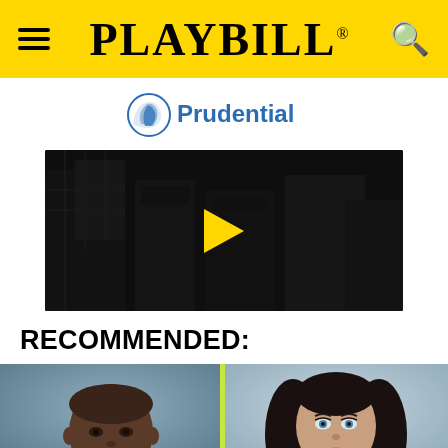PLAYBILL
[Figure (logo): Prudential logo with blue rock icon and blue text]
[Figure (screenshot): Dark video thumbnail showing Broadway street scene with yellow play button in center]
RECOMMENDED:
[Figure (photo): Split image: left side shows headshot of a Black man with shaved head against blue-gray background; right side shows headshot of a woman with long dark hair against soft gray background; images separated by a yellow-green vertical line]